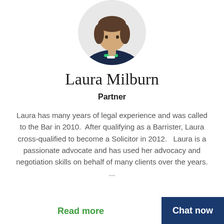[Figure (photo): Headshot of Laura Milburn wearing a dark navy jacket with green and white collar detail, cropped circular portrait style from a law firm website profile.]
Laura Milburn
Partner
Laura has many years of legal experience and was called to the Bar in 2010.  After qualifying as a Barrister, Laura cross-qualified to become a Solicitor in 2012.   Laura is a passionate advocate and has used her advocacy and negotiation skills on behalf of many clients over the years. ...
Read more
Chat now